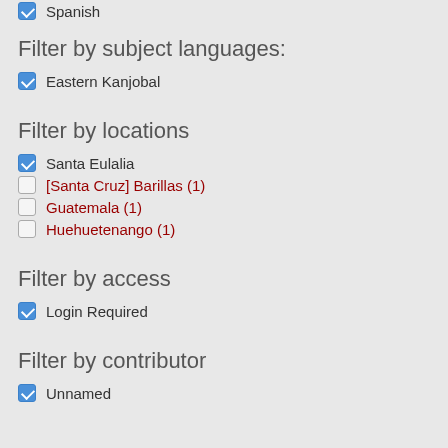Spanish
Filter by subject languages:
Eastern Kanjobal
Filter by locations
Santa Eulalia
[Santa Cruz] Barillas (1)
Guatemala (1)
Huehuetenango (1)
Filter by access
Login Required
Filter by contributor
Unnamed